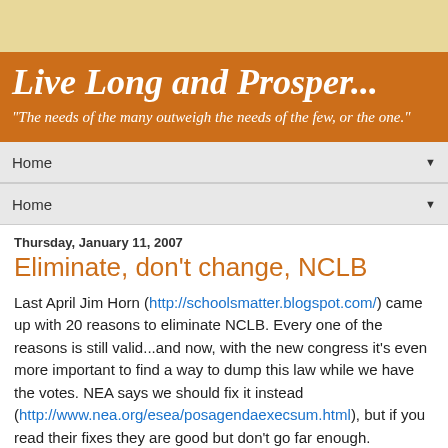Live Long and Prosper...
"The needs of the many outweigh the needs of the few, or the one."
Home ▼
Home ▼
Thursday, January 11, 2007
Eliminate, don't change, NCLB
Last April Jim Horn (http://schoolsmatter.blogspot.com/) came up with 20 reasons to eliminate NCLB. Every one of the reasons is still valid...and now, with the new congress it's even more important to find a way to dump this law while we have the votes. NEA says we should fix it instead (http://www.nea.org/esea/posagendaexecsum.html), but if you read their fixes they are good but don't go far enough.